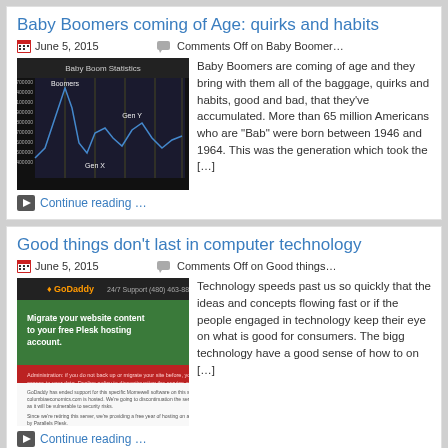Baby Boomers coming of Age: quirks and habits
June 5, 2015    Comments Off on Baby Boomers
[Figure (line-chart): Line chart showing generational data with labels Boomers, Gen X, Gen Y on a dark background]
Baby Boomers are coming of age and they bring with them all of the baggage, quirks and habits, good and bad, that they've accumulated. More than 65 million Americans who are "Bab" were born between 1946 and 1964. This was the generation which took the […]
Continue reading …
Good things don't last in computer technology
June 5, 2015    Comments Off on Good things
[Figure (screenshot): Screenshot of a web hosting migration page with GoDaddy branding, green section, and red alert bar]
Technology speeds past us so quickly that the ideas and concepts flowing fast or if the people engaged in technology keep their eye on what is good for consumers. The bigg technology have a good sense of how to on […]
Continue reading …